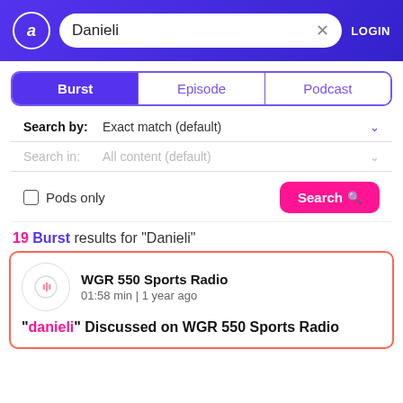a Danieli × LOGIN
Burst | Episode | Podcast
Search by: Exact match (default)
Search in: All content (default)
Pods only   Search
19 Burst results for "Danieli"
WGR 550 Sports Radio
01:58 min | 1 year ago
"danieli" Discussed on WGR 550 Sports Radio